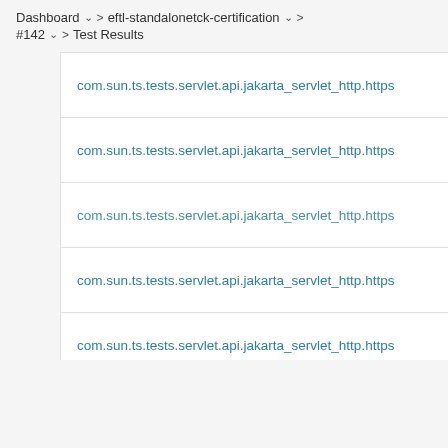Dashboard > eftl-standalonetck-certification > #142 > Test Results
com.sun.ts.tests.servlet.api.jakarta_servlet_http.https
com.sun.ts.tests.servlet.api.jakarta_servlet_http.https
com.sun.ts.tests.servlet.api.jakarta_servlet_http.https
com.sun.ts.tests.servlet.api.jakarta_servlet_http.https
com.sun.ts.tests.servlet.api.jakarta_servlet_http.https
com.sun.ts.tests.servlet.api.jakarta_servlet_http.https
com.sun.ts.tests.servlet.api.jakarta_servlet_http.https